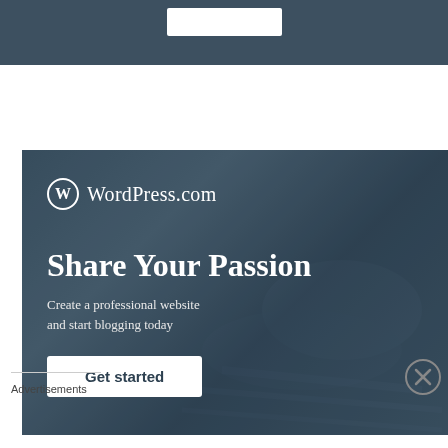[Figure (screenshot): Top portion of a WordPress.com advertisement banner showing a white button on a dark teal/slate background, partially visible at the top of the page.]
[Figure (infographic): WordPress.com advertisement with dark blue-grey photographic background showing hands typing on a keyboard. Contains WordPress logo, headline 'Share Your Passion', subtext 'Create a professional website and start blogging today', and a white 'Get started' button.]
Advertisements
[Figure (infographic): WordPress.com bottom advertisement bar on light beige/cream background with text 'Professionally designed sites in less than a week' and WordPress logo on the right.]